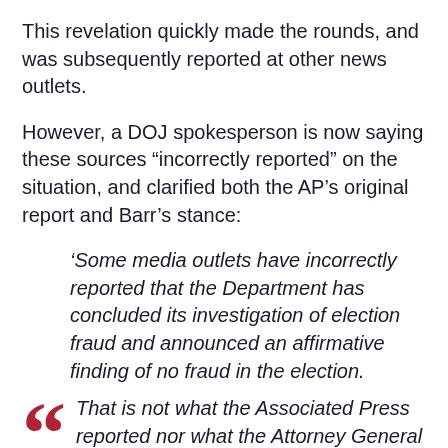This revelation quickly made the rounds, and was subsequently reported at other news outlets.
However, a DOJ spokesperson is now saying these sources “incorrectly reported” on the situation, and clarified both the AP’s original report and Barr’s stance:
‘Some media outlets have incorrectly reported that the Department has concluded its investigation of election fraud and announced an affirmative finding of no fraud in the election.
That is not what the Associated Press reported nor what the Attorney General said. That Department will continue to